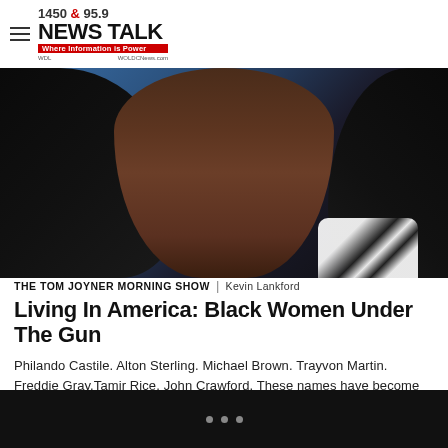1450 & 95.9 NEWS TALK – Where Information is Power – WDL – WOLDCNews.com
[Figure (photo): Close-up photo of a Black woman's face and neck against a blue background, with long dark hair and drop earrings, wearing a black and white patterned top]
THE TOM JOYNER MORNING SHOW | Kevin Lankford
Living In America: Black Women Under The Gun
Philando Castile. Alton Sterling. Michael Brown. Trayvon Martin. Freddie Gray.Tamir Rice. John Crawford. These names have become etched in our collective consciousness as the victims of murder, whether their executioners have been brought to justice or not. Whether killed by police or overzealous night watchmen, these young Black men have paid with their lives for […]